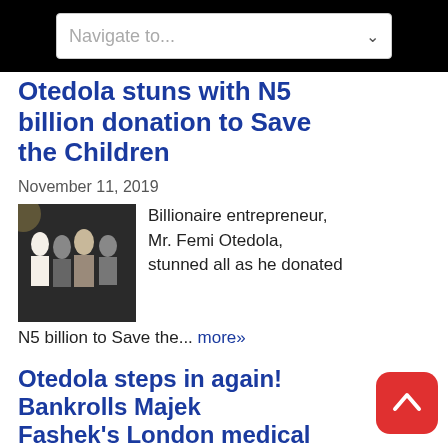Navigate to...
Otedola stuns with N5 billion donation to Save the Children
November 11, 2019
[Figure (photo): Group photo of people at an event, dark background]
Billionaire entrepreneur, Mr. Femi Otedola, stunned all as he donated N5 billion to Save the... more»
Otedola steps in again! Bankrolls Majek Fashek's London medical treatment
September 18, 2019
[Figure (photo): Partial image at bottom, partially cut off]